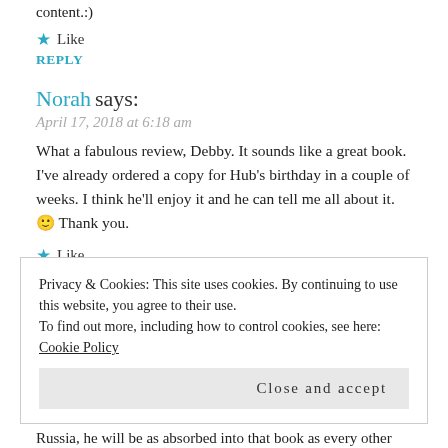content.:)
★ Like
REPLY
Norah says:
April 17, 2018 at 6:18 am
What a fabulous review, Debby. It sounds like a great book. I've already ordered a copy for Hub's birthday in a couple of weeks. I think he'll enjoy it and he can tell me all about it. 🙂 Thank you.
★ Like
REPLY
Privacy & Cookies: This site uses cookies. By continuing to use this website, you agree to their use.
To find out more, including how to control cookies, see here: Cookie Policy
Close and accept
Russia, he will be as absorbed into that book as every other